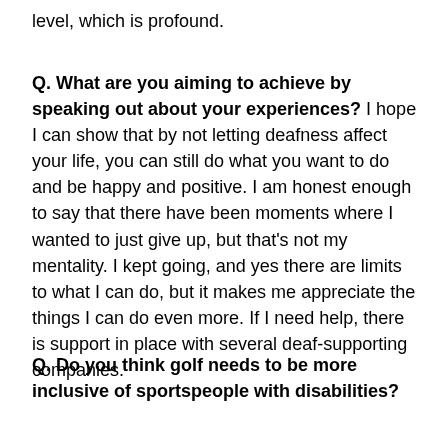level, which is profound.
Q. What are you aiming to achieve by speaking out about your experiences? I hope I can show that by not letting deafness affect your life, you can still do what you want to do and be happy and positive. I am honest enough to say that there have been moments where I wanted to just give up, but that's not my mentality. I kept going, and yes there are limits to what I can do, but it makes me appreciate the things I can do even more. If I need help, there is support in place with several deaf-supporting companies.
Q. Do you think golf needs to be more inclusive of sportspeople with disabilities?